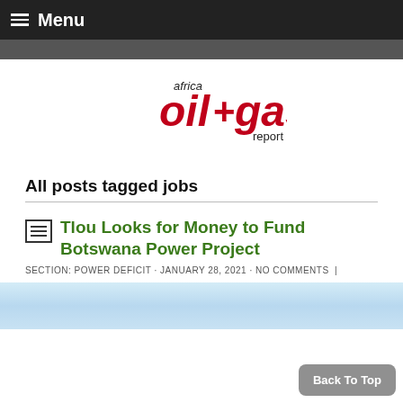Menu
[Figure (logo): Africa Oil+Gas Report logo with red and black text]
All posts tagged jobs
Tlou Looks for Money to Fund Botswana Power Project
SECTION: POWER DEFICIT · JANUARY 28, 2021 · NO COMMENTS |
[Figure (photo): Partial photo showing sky and landscape, cropped at bottom of page]